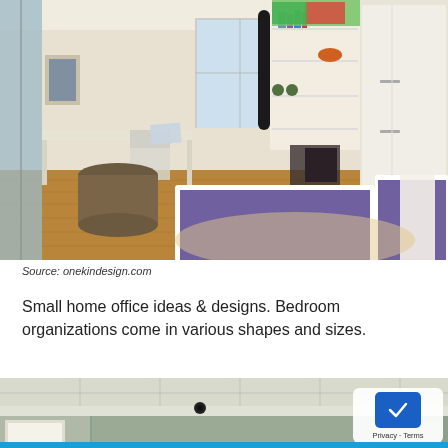[Figure (photo): Small bedroom with built-in white shelving and storage, two beds with dark purple/grey bedding, a desk area with chair, hardwood floor, and colorful artwork on wall.]
Source: onekindesign.com
Small home office ideas & designs. Bedroom organizations come in various shapes and sizes.
[Figure (photo): Interior room with white drop ceiling panels and greenish-grey walls, partially visible.]